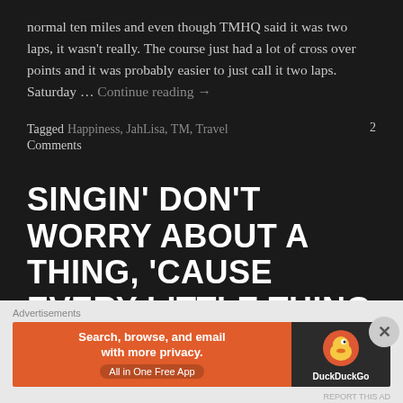normal ten miles and even though TMHQ said it was two laps, it wasn't really. The course just had a lot of cross over points and it was probably easier to just call it two laps. Saturday … Continue reading →
Tagged Happiness, JahLisa, TM, Travel   2 Comments
SINGIN' DON'T WORRY ABOUT A THING, 'CAUSE EVERY LITTLE THING GONNA BE MUDDY
Advertisements
[Figure (screenshot): DuckDuckGo advertisement banner: orange left section with text 'Search, browse, and email with more privacy. All in One Free App', dark right section with DuckDuckGo duck logo and brand name.]